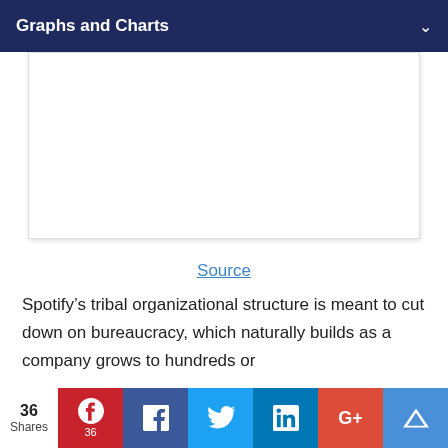Graphs and Charts
[Figure (other): Empty white chart/image area with border and shadow]
Source
Spotify’s tribal organizational structure is meant to cut down on bureaucracy, which naturally builds as a company grows to hundreds or
36 Shares | Social share buttons: Pinterest (36), Facebook, Twitter, LinkedIn, Google+, Crown